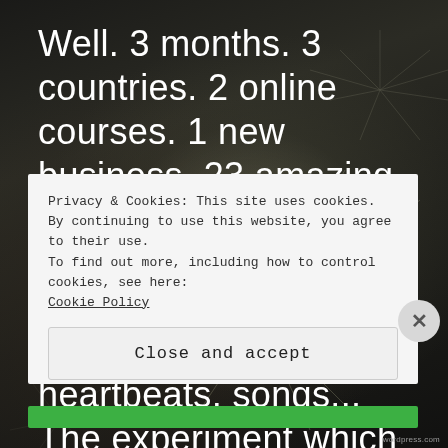[Figure (photo): Dark background photo with sparkler bokeh light effects, serving as backdrop for overlaid text]
Well. 3 months. 3 countries. 2 online courses. 1 new business. 23 amazing humans. Countless laughs, tears, take-your-breath-away moments, meals, heartbeats, songs... The experiment which we all...
Privacy & Cookies: This site uses cookies. By continuing to use this website, you agree to their use.
To find out more, including how to control cookies, see here: Cookie Policy
Close and accept